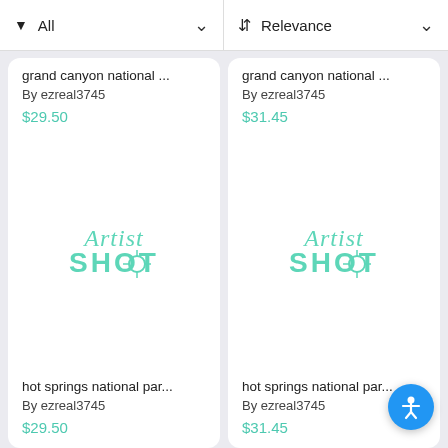All | Relevance
grand canyon national...
By ezreal3745
$29.50
grand canyon national...
By ezreal3745
$31.45
[Figure (logo): Artist Shot watermark logo in teal on white card background]
hot springs national par...
By ezreal3745
$29.50
[Figure (logo): Artist Shot watermark logo in teal on white card background]
hot springs national par...
By ezreal3745
$31.45